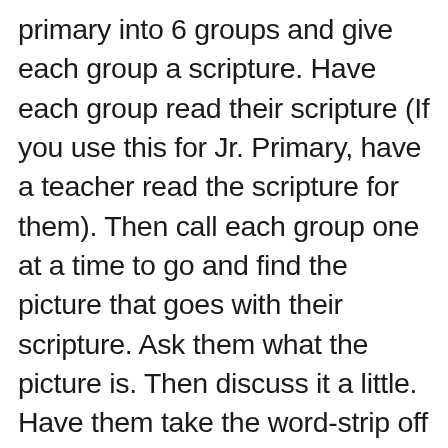primary into 6 groups and give each group a scripture. Have each group read their scripture (If you use this for Jr. Primary, have a teacher read the scripture for them). Then call each group one at a time to go and find the picture that goes with their scripture. Ask them what the picture is. Then discuss it a little. Have them take the word-strip off and try to figure out where it goes. (You may have to wait until a few have their word-strips.) After they have matched all the pictures and guessed the phrase “Jesus was Resurrected, and I will be too” talk to them about the Resurrection.